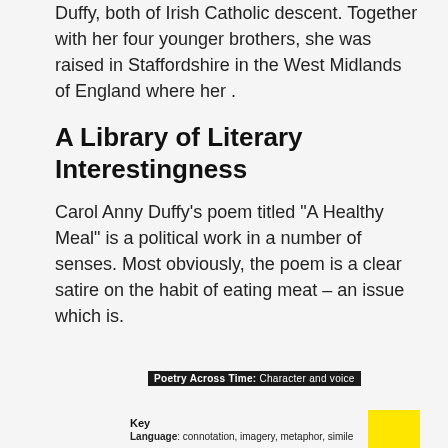Duffy, both of Irish Catholic descent. Together with her four younger brothers, she was raised in Staffordshire in the West Midlands of England where her .
A Library of Literary Interestingness
Carol Anny Duffy’s poem titled “A Healthy Meal” is a political work in a number of senses. Most obviously, the poem is a clear satire on the habit of eating meat – an issue which is.
A close analysis of Carol Ann Duffy’s Mrs Lazarus, considering poetic techniques, form, and genre.
[Figure (infographic): A label bar reading 'Poetry Across Time: Character and voice' in white text on a dark background, followed by a Key section with 'Language: connotation, imagery, metaphor, simile' and a yellow highlight box.]